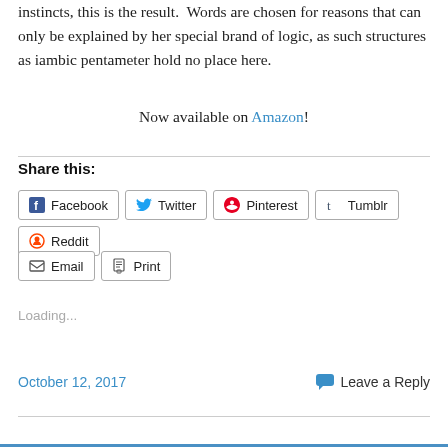instincts, this is the result. Words are chosen for reasons that can only be explained by her special brand of logic, as such structures as iambic pentameter hold no place here.
Now available on Amazon!
Share this:
Loading...
October 12, 2017
Leave a Reply